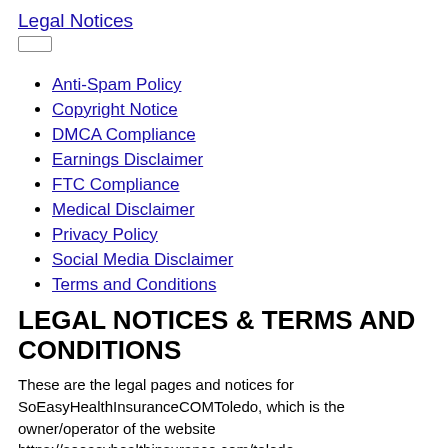Legal Notices
Anti-Spam Policy
Copyright Notice
DMCA Compliance
Earnings Disclaimer
FTC Compliance
Medical Disclaimer
Privacy Policy
Social Media Disclaimer
Terms and Conditions
LEGAL NOTICES & TERMS AND CONDITIONS
These are the legal pages and notices for SoEasyHealthInsuranceCOMToledo, which is the owner/operator of the website https://soeasyhealthinsurance.com/toledo.
Anti-Spam Policy
The following describes the Anti-Spam Policy for our